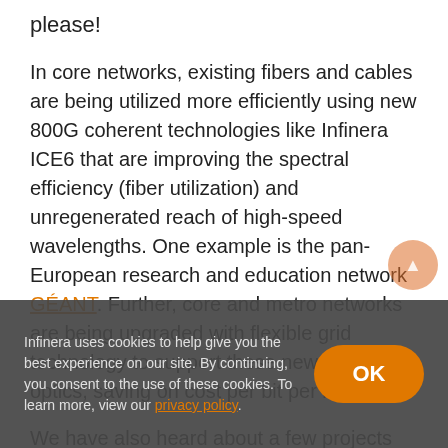please!
In core networks, existing fibers and cables are being utilized more efficiently using new 800G coherent technologies like Infinera ICE6 that are improving the spectral efficiency (fiber utilization) and unregenerated reach of high-speed wavelengths. One example is the pan-European research and education network GÉANT. Further, core and metro networks are being upgraded with flexible grid technology to support these new coherent optics, saving on cost per bit per kilometer.
We have also heard about a few projects that are being upgraded from GPON to XGS-PON, which means that we will have to deal with higher capacities in metro
Infinera uses cookies to help give you the best experience on our site. By continuing, you consent to the use of these cookies. To learn more, view our privacy policy.